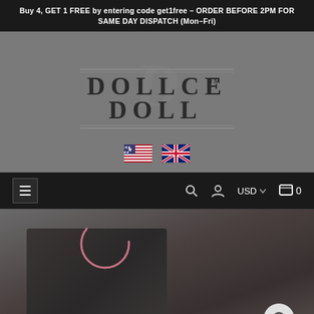Buy 4, GET 1 FREE by entering code get1free – ORDER BEFORE 2PM FOR SAME DAY DISPATCH (Mon-Fri)
[Figure (logo): Dollce Doll brand logo with stylized D monogram and horizontal lines, text DOLLCE on top row and DOLL on bottom row with TM mark, displayed on gray background]
[Figure (infographic): US flag and UK flag icons side by side for currency/region selection]
[Figure (screenshot): Navigation bar with hamburger menu icon on left, search icon, user account icon, USD currency selector with dropdown arrow, and cart icon showing 0 items on right, on dark background]
[Figure (photo): Product image area showing a dark-toned product photo with a pink circular loading spinner overlay and a white chat bubble widget in the bottom right corner]